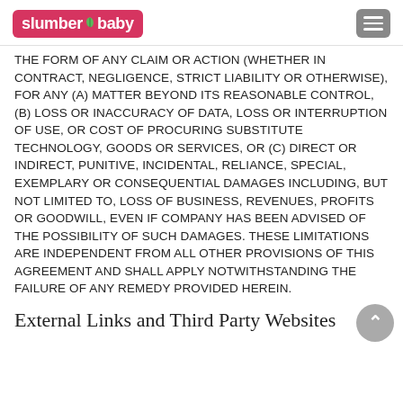slumber baby (logo)
THE FORM OF ANY CLAIM OR ACTION (WHETHER IN CONTRACT, NEGLIGENCE, STRICT LIABILITY OR OTHERWISE), FOR ANY (A) MATTER BEYOND ITS REASONABLE CONTROL, (B) LOSS OR INACCURACY OF DATA, LOSS OR INTERRUPTION OF USE, OR COST OF PROCURING SUBSTITUTE TECHNOLOGY, GOODS OR SERVICES, OR (C) DIRECT OR INDIRECT, PUNITIVE, INCIDENTAL, RELIANCE, SPECIAL, EXEMPLARY OR CONSEQUENTIAL DAMAGES INCLUDING, BUT NOT LIMITED TO, LOSS OF BUSINESS, REVENUES, PROFITS OR GOODWILL, EVEN IF COMPANY HAS BEEN ADVISED OF THE POSSIBILITY OF SUCH DAMAGES. THESE LIMITATIONS ARE INDEPENDENT FROM ALL OTHER PROVISIONS OF THIS AGREEMENT AND SHALL APPLY NOTWITHSTANDING THE FAILURE OF ANY REMEDY PROVIDED HEREIN.
External Links and Third Party Websites